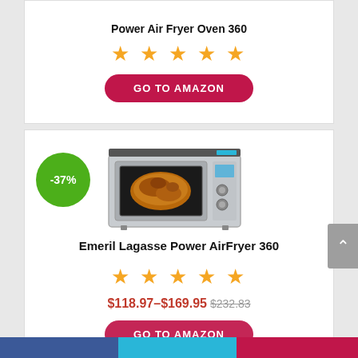Power Air Fryer Oven 360
[Figure (other): Five gold star rating for Power Air Fryer Oven 360]
[Figure (other): GO TO AMAZON button in red/crimson rounded pill shape]
[Figure (other): -37% green discount badge circle, product image of Emeril Lagasse Power AirFryer 360 countertop oven]
Emeril Lagasse Power AirFryer 360
[Figure (other): Five gold star rating for Emeril Lagasse Power AirFryer 360]
$118.97–$169.95 $232.83
[Figure (other): GO TO AMAZON button in red/crimson rounded pill shape (partially visible)]